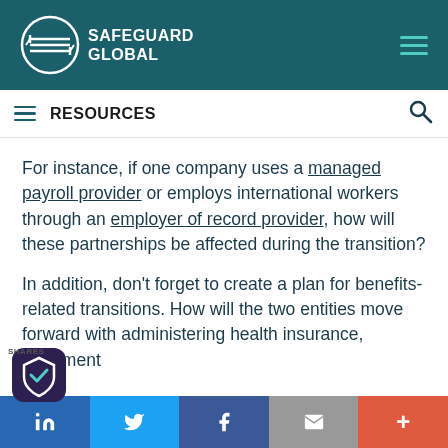Safeguard Global
For instance, if one company uses a managed payroll provider or employs international workers through an employer of record provider, how will these partnerships be affected during the transition?
In addition, don't forget to create a plan for benefits-related transitions. How will the two entities move forward with administering health insurance, retirement
SHARES | LinkedIn | Twitter | Facebook | Email | +